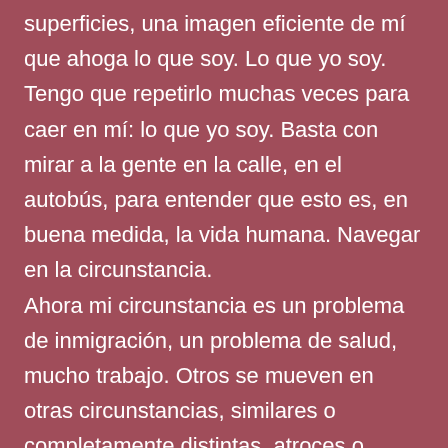superficies, una imagen eficiente de mí que ahoga lo que soy. Lo que yo soy. Tengo que repetirlo muchas veces para caer en mí: lo que yo soy. Basta con mirar a la gente en la calle, en el autobús, para entender que esto es, en buena medida, la vida humana. Navegar en la circunstancia. Ahora mi circunstancia es un problema de inmigración, un problema de salud, mucho trabajo. Otros se mueven en otras circunstancias, similares o completamente distintas, atroces o cargadas de bendiciones. ¿Por qué siento, cada vez con mayor frecuencia, que las circunstancias